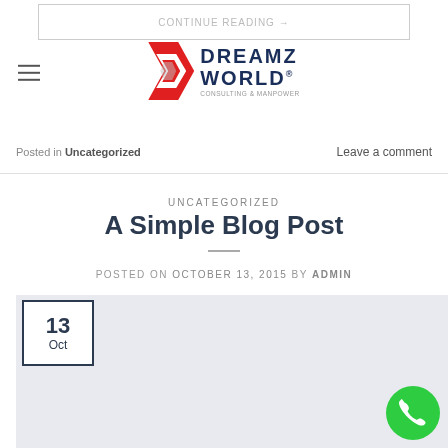CONTINUE READING — DREAMZ WORLD logo
Posted in Uncategorized    Leave a comment
UNCATEGORIZED
A Simple Blog Post
POSTED ON OCTOBER 13, 2015 BY ADMIN
[Figure (other): Featured image placeholder with date box showing 13 Oct and phone call button]
13 Oct